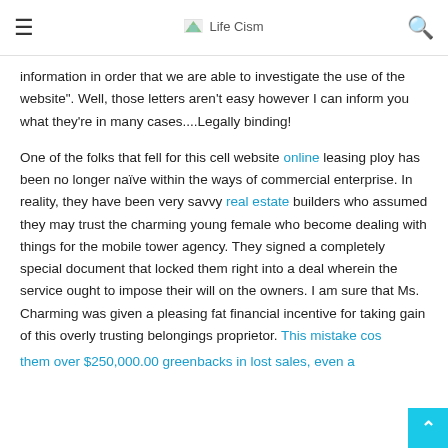Life Cism
information in order that we are able to investigate the use of the website". Well, those letters aren't easy however I can inform you what they're in many cases....Legally binding!
One of the folks that fell for this cell website online leasing ploy has been no longer naïve within the ways of commercial enterprise. In reality, they have been very savvy real estate builders who assumed they may trust the charming young female who become dealing with things for the mobile tower agency. They signed a completely special document that locked them right into a deal wherein the service ought to impose their will on the owners. I am sure that Ms. Charming was given a pleasing fat financial incentive for taking gain of this overly trusting belongings proprietor. This mistake cos them over $250,000.00 greenbacks in lost sales, even a